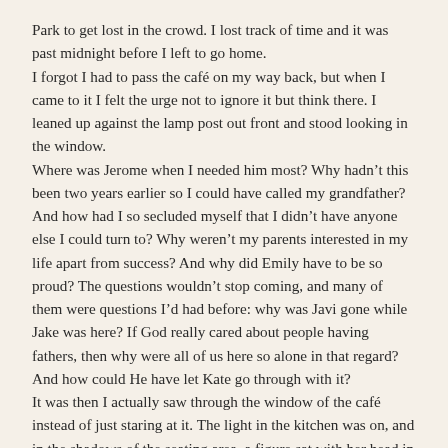Park to get lost in the crowd. I lost track of time and it was past midnight before I left to go home.
I forgot I had to pass the café on my way back, but when I came to it I felt the urge not to ignore it but think there. I leaned up against the lamp post out front and stood looking in the window.
Where was Jerome when I needed him most? Why hadn't this been two years earlier so I could have called my grandfather? And how had I so secluded myself that I didn't have anyone else I could turn to? Why weren't my parents interested in my life apart from success? And why did Emily have to be so proud? The questions wouldn't stop coming, and many of them were questions I'd had before: why was Javi gone while Jake was here? If God really cared about people having fathers, then why were all of us here so alone in that regard? And how could He have let Kate go through with it?
It was then I actually saw through the window of the café instead of just staring at it. The light in the kitchen was on, and in the shadows of the seating area, a figure sat with her head in her hands. A steaming mug was to one side of her, and an open notebook to the other.
Oh Emily! I thought. I don't want to hurt you or push you.
I turned and headed back to my flat. But who am I kidding? If I want Emily to fix her relationship with her parents, then there's work that I